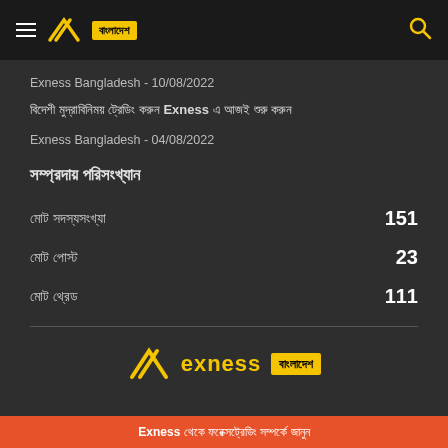Exness Bangladesh navigation bar with logo and search icon
Exness Bangladesh - 10/08/2022
বিদেশী মুদ্রাবিনিময় ট্রেডিং করুন Exness এ আজই শুরু করুন
Exness Bangladesh - 04/08/2022
সম্প্রদায় পরিসংখ্যান
মোট সদস্যসংখ্যা 151
মোট পোস্ট 23
মোট থ্রেড 111
[Figure (logo): Exness Bangladesh logo at bottom]
Exness থেকে ফরেক্সট্রেডিং সম্পর্কে জানুন